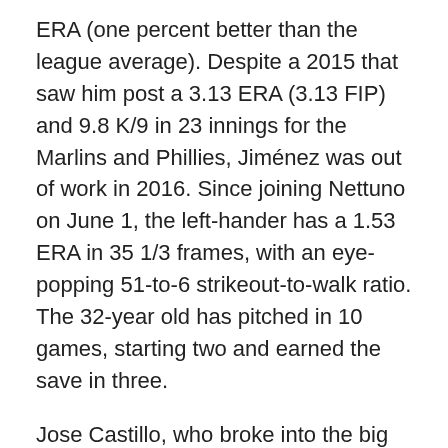ERA (one percent better than the league average). Despite a 2015 that saw him post a 3.13 ERA (3.13 FIP) and 9.8 K/9 in 23 innings for the Marlins and Phillies, Jiménez was out of work in 2016. Since joining Nettuno on June 1, the left-hander has a 1.53 ERA in 35 1/3 frames, with an eye-popping 51-to-6 strikeout-to-walk ratio. The 32-year old has pitched in 10 games, starting two and earned the save in three.
Jose Castillo, who broke into the big leagues at 23 with the Pirates, joined Parmaclima Parma two weeks later. Castillo played regular for five years in the majors and totalled a .254/.296/.379 line while appearing at second, short, and third. Now 36, Castillo had only a .238 average for Parma, but hit .364 with runners in scoring position and had five two-out RBI, earning a reputation for clutch hitting.